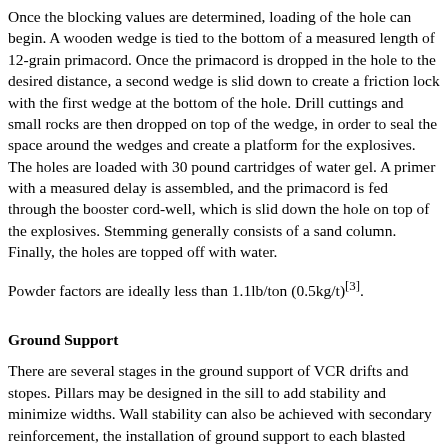Once the blocking values are determined, loading of the hole can begin. A wooden wedge is tied to the bottom of a measured length of 12-grain primacord. Once the primacord is dropped in the hole to the desired distance, a second wedge is slid down to create a friction lock with the first wedge at the bottom of the hole. Drill cuttings and small rocks are then dropped on top of the wedge, in order to seal the space around the wedges and create a platform for the explosives. The holes are loaded with 30 pound cartridges of water gel. A primer with a measured delay is assembled, and the primacord is fed through the booster cord-well, which is slid down the hole on top of the explosives. Stemming generally consists of a sand column. Finally, the holes are topped off with water.
Powder factors are ideally less than 1.1lb/ton (0.5kg/t)[3].
Ground Support
There are several stages in the ground support of VCR drifts and stopes. Pillars may be designed in the sill to add stability and minimize widths. Wall stability can also be achieved with secondary reinforcement, the installation of ground support to each blasted